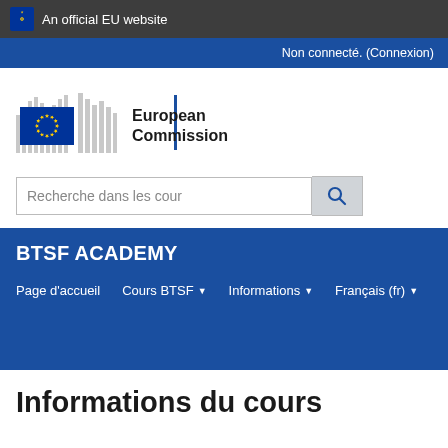An official EU website
Non connecté. (Connexion)
[Figure (logo): European Commission logo with EU flag stars and building silhouette]
Recherche dans les cour
BTSF ACADEMY
Page d'accueil   Cours BTSF ▼   Informations ▼   Français (fr) ▼
Informations du cours